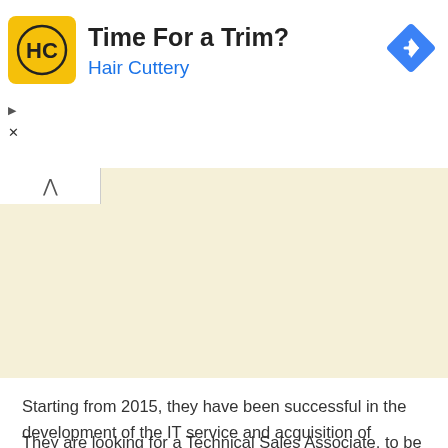[Figure (screenshot): Hair Cuttery advertisement banner with yellow logo showing 'HC', headline 'Time For a Trim?', subtext 'Hair Cuttery', and a blue navigation diamond icon on the right. Small play and close controls on the left side.]
[Figure (map): Map area with a tab showing a caret/chevron up icon on the left, and a beige/cream colored map background on the right.]
Starting from 2015, they have been successful in the development of the IT service and acquisition of customers in Kenya Uganda, and Nigeria, with a multi-national team from Kenya, DRC, Uganda, Nigeria, and Japan.
They are looking for a Technical Sales Associate, to be